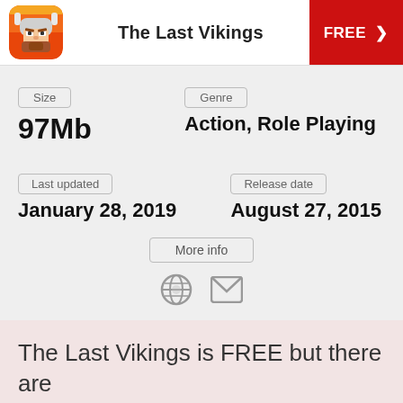The Last Vikings | FREE >
Size
97Mb
Genre
Action, Role Playing
Last updated
January 28, 2019
Release date
August 27, 2015
More info
The Last Vikings is FREE but there are more add-ons